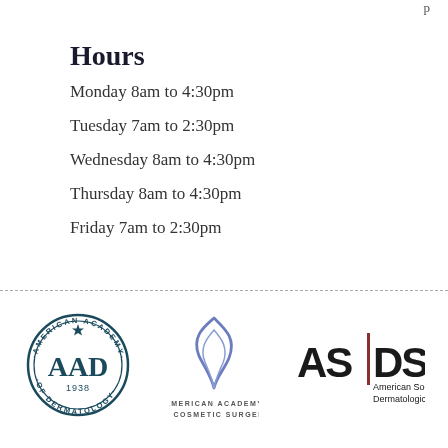Hours
Monday 8am to 4:30pm
Tuesday 7am to 2:30pm
Wednesday 8am to 4:30pm
Thursday 8am to 4:30pm
Friday 7am to 2:30pm
[Figure (logo): American Academy of Dermatology (AAD) circular seal logo, founded 1938, teal color]
[Figure (logo): American Academy of Cosmetic Surgery logo with stylized swirl, purple/blue color]
[Figure (logo): ASDS - American Society for Dermatologic Surgery logo with vertical red divider]